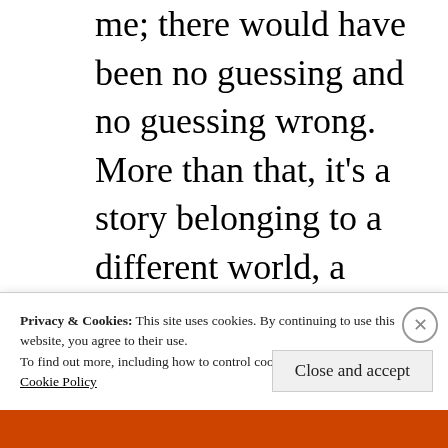me; there would have been no guessing and no guessing wrong. More than that, it’s a story belonging to a different world, a world in which the gods show themselves clearly and don’t torment men with glimpses, nor unveil to one what they hide from another, nor ask you to believe
Privacy & Cookies: This site uses cookies. By continuing to use this website, you agree to their use.
To find out more, including how to control cookies, see here:
Cookie Policy
Close and accept